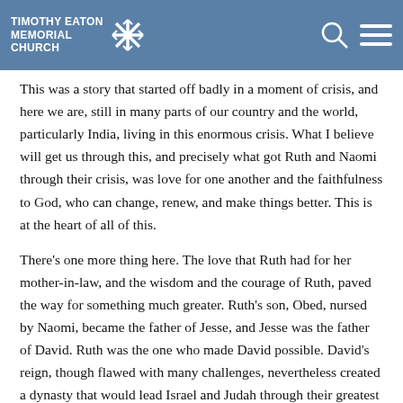TIMOTHY EATON MEMORIAL CHURCH
This was a story that started off badly in a moment of crisis, and here we are, still in many parts of our country and the world, particularly India, living in this enormous crisis. What I believe will get us through this, and precisely what got Ruth and Naomi through their crisis, was love for one another and the faithfulness to God, who can change, renew, and make things better. This is at the heart of all of this.
There's one more thing here. The love that Ruth had for her mother-in-law, and the wisdom and the courage of Ruth, paved the way for something much greater. Ruth's son, Obed, nursed by Naomi, became the father of Jesse, and Jesse was the father of David. Ruth was the one who made David possible. David's reign, though flawed with many challenges, nevertheless created a dynasty that would lead Israel and Judah through their greatest years, until the Babylonian exile. Ruth was the antecedent of David, and her act of love down the road, two, three levels of